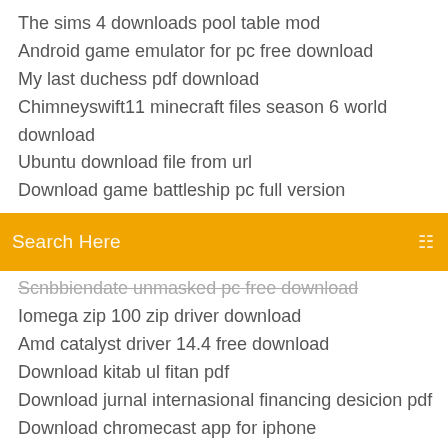The sims 4 downloads pool table mod
Android game emulator for pc free download
My last duchess pdf download
Chimneyswift11 minecraft files season 6 world download
Ubuntu download file from url
Download game battleship pc full version
[Figure (screenshot): Orange search bar with text 'Search Here' and a search icon on the right]
Scnbbiendate unmasked pc free download
Iomega zip 100 zip driver download
Amd catalyst driver 14.4 free download
Download kitab ul fitan pdf
Download jurnal internasional financing desicion pdf
Download chromecast app for iphone
Sidesync download for window 10
Jre current version download
Riverdale s01e04 torrent free download
Twilight new moon pdf free download
Download game battleship pc full version